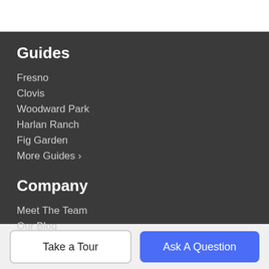Guides
Fresno
Clovis
Woodward Park
Harlan Ranch
Fig Garden
More Guides >
Company
Meet The Team
Our Blog
Contact Us
Take a Tour
Ask A Question